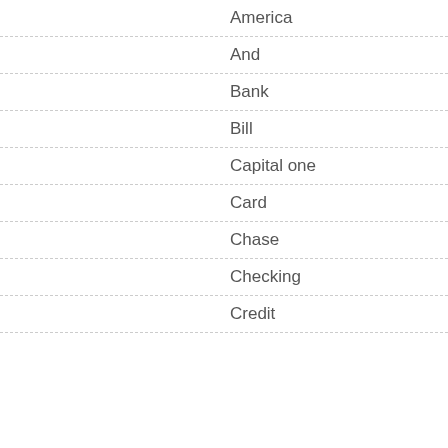America
And
Bank
Bill
Capital one
Card
Chase
Checking
Credit